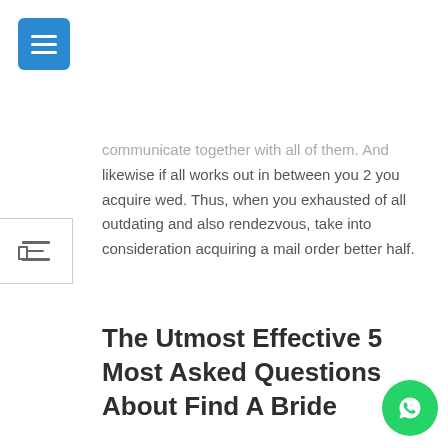communicate together with all of them. And likewise if all works out in between you 2 you acquire wed. Thus, when you exhausted of all outdating and also rendezvous, take into consideration acquiring a mail order better half.
The Utmost Effective 5 Most Asked Questions About Find A Bride
Marriage was above all an financial transaction, and in no place was this extra obvious than within the early 1600s in the Jamestown colony, the place a extreme gender imbalance threatened the fledgling colony’s future. Although many of these mail-order marriages work out, in plenty of different instances, anecdotal proof means that mail-order brides discover themselves in abusive relationships